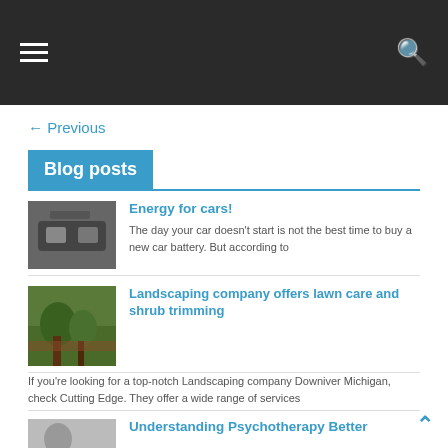Navigation bar with hamburger menu and search icon
← Previous
Blog posts
[Figure (photo): Car engine/battery close-up photo]
Energy for cars!
The day your car doesn't start is not the best time to buy a new car battery. But according to
[Figure (photo): Landscaped garden with trees and shrubs]
Landscaping company offers lawn care and shrub trimming
If you're looking for a top-notch Landscaping company Downiver Michigan, check Cutting Edge. They offer a wide range of services
[Figure (photo): Psychotherapy/person photo thumbnail]
Understanding Psychotherapy Better